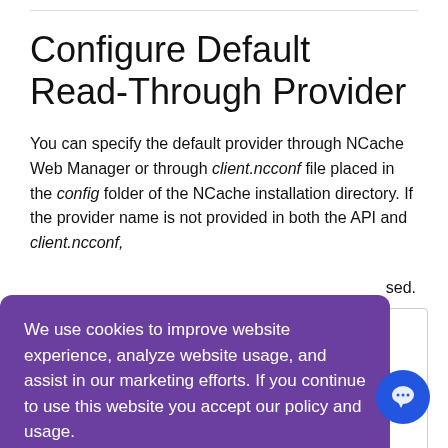Configure Default Read-Through Provider
You can specify the default provider through NCache Web Manager or through client.ncconf file placed in the config folder of the NCache installation directory. If the provider name is not provided in both the API and client.ncconf,
sed.
[Figure (screenshot): Cookie consent banner with purple background. Text: 'We use cookies to improve website experience, analyze website usage, and assist in our marketing efforts. If you continue to use this website you accept our policy and usage. [Learn More]' with an Accept button below.]
[Figure (screenshot): Partial code block on right side showing teal/cyan colored code snippets with text fragments including 'u-', 'ent-', 'ethru-']
[Figure (illustration): Blue circular chat/support button with speech bubble icon]